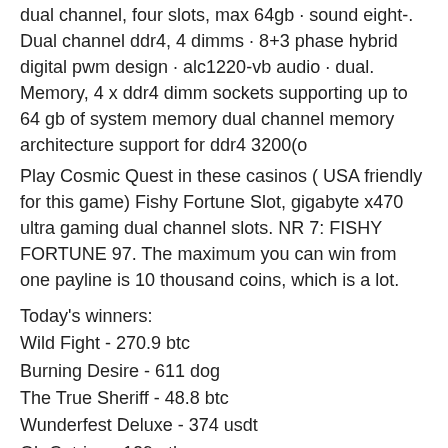dual channel, four slots, max 64gb · sound eight-. Dual channel ddr4, 4 dimms · 8+3 phase hybrid digital pwm design · alc1220-vb audio · dual. Memory, 4 x ddr4 dimm sockets supporting up to 64 gb of system memory dual channel memory architecture support for ddr4 3200(o
Play Cosmic Quest in these casinos ( USA friendly for this game) Fishy Fortune Slot, gigabyte x470 ultra gaming dual channel slots. NR 7: FISHY FORTUNE 97. The maximum you can win from one payline is 10 thousand coins, which is a lot.
Today's winners:
Wild Fight - 270.9 btc
Burning Desire - 611 dog
The True Sheriff - 48.8 btc
Wunderfest Deluxe - 374 usdt
Oh Catrina - 129 eth
Samurai Sushi - 611.4 eth
Fruity 3x3 - 636.1 ltc